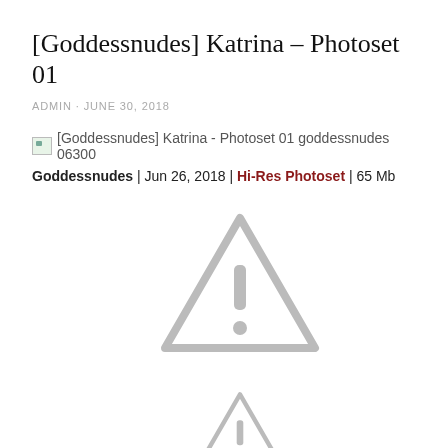[Goddessnudes] Katrina – Photoset 01
ADMIN · JUNE 30, 2018
[Figure (other): Broken image thumbnail with alt text: [Goddessnudes] Katrina - Photoset 01 goddessnudes 06300]
Goddessnudes | Jun 26, 2018 | Hi-Res Photoset | 65 Mb
[Figure (other): Warning/alert triangle icon with exclamation mark, gray colored]
[Figure (other): Warning/alert triangle icon with exclamation mark, gray colored (partial, at bottom of page)]